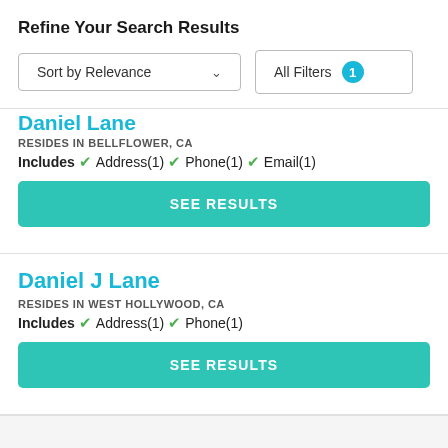Refine Your Search Results
Sort by Relevance | All Filters 1
Daniel Lane
RESIDES IN BELLFLOWER, CA
Includes ✓ Address(1) ✓ Phone(1) ✓ Email(1)
SEE RESULTS
Daniel J Lane
RESIDES IN WEST HOLLYWOOD, CA
Includes ✓ Address(1) ✓ Phone(1)
SEE RESULTS